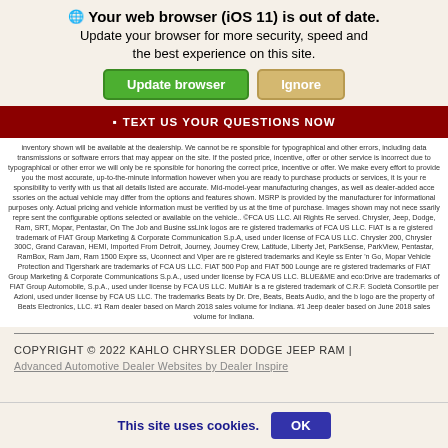🌐 Your web browser (iOS 11) is out of date. Update your browser for more security, speed and the best experience on this site.
Update browser | Ignore
▪ TEXT US YOUR QUESTIONS NOW
inventory shown will be available at the dealership. We cannot be responsible for typographical and other errors, including data transmissions or software errors that may appear on the site. If the posted price, incentive, offer or other service is incorrect due to typographical or other error we will only be responsible for honoring the correct price, incentive or offer. We make every effort to provide you the most accurate, up-to-the-minute information however when you are ready to purchase products or services, it is your responsibility to verify with us that all details listed are accurate. Mid-model-year manufacturing changes, as well as dealer-added accessories on the actual vehicle may differ from the options and features shown. MSRP is provided by the manufacturer for informational purposes only. Actual pricing and vehicle information must be verified by us at the time of purchase. Images shown may not necessarily represent the configurable options selected or available on the vehicle.. ©FCA US LLC. All Rights Reserved. Chrysler, Jeep, Dodge, Ram, SRT, Mopar, Pentastar, On The Job and BusinessLink logos are registered trademarks of FCA US LLC. FIAT is a registered trademark of FIAT Group Marketing & Corporate Communication S.p.A, used under license of FCA US LLC. Chrysler 200, Chrysler 300C, Grand Caravan, HEMI, Imported From Detroit, Journey, Journey Crew, Latitude, Liberty Jet, ParkSense, ParkView, Pentastar, RamBox, Ram Jam, Ram 1500 Express, Uconnect and Viper are registered trademarks and Keyless Enter 'n Go, Mopar Vehicle Protection and Tigershark are trademarks of FCA US LLC. FIAT 500 Pop and FIAT 500 Lounge are registered trademarks of FIAT Group Marketing & Corporate Communications S.p.A., used under license by FCA US LLC. BLUE&ME and eco:Drive are trademarks of FIAT Group Automobile, S.p.A., used under license by FCA US LLC. MultiAir is a registered trademark of C.R.F. Società Consortile per Azioni, used under license by FCA US LLC. The trademarks Beats by Dr. Dre, Beats, Beats Audio, and the b logo are the property of Beats Electronics, LLC. #1 Ram dealer based on March 2018 sales volume for Indiana. #1 Jeep dealer based on June 2018 sales volume for Indiana.
COPYRIGHT © 2022 KAHLO CHRYSLER DODGE JEEP RAM |
Advanced Automotive Dealer Websites by Dealer Inspire
This site uses cookies. OK